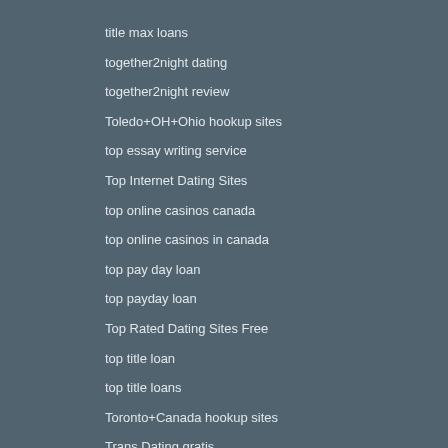title max loans
together2night dating
together2night review
Toledo+OH+Ohio hookup sites
top essay writing service
Top Internet Dating Sites
top online casinos canada
top online casinos in canada
top pay day loan
top payday loan
Top Rated Dating Sites Free
top title loan
top title loans
Toronto+Canada hookup sites
Trans Dating gratis
Trans Dating stranky pro dospele
Trans Dating Websites kostenlos